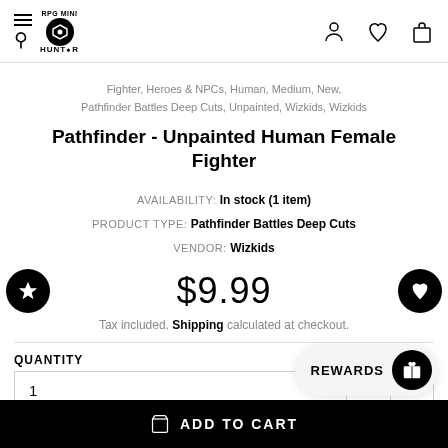RPG Mini Hunter - navigation header with logo, search, wishlist, and cart icons
Fighter, Heroes & NPCs, Human, Medium, New, Pathfinder Battles Deep Cuts, Unpainted, Wizkids, Wizkids
Pathfinder - Unpainted Human Female Fighter
AVAILABILITY: In stock (1 item)
PRODUCT TYPE: Pathfinder Battles Deep Cuts
VENDOR: Wizkids
$9.99
Tax included. Shipping calculated at checkout.
QUANTITY
1
REWARDS
ADD TO CART